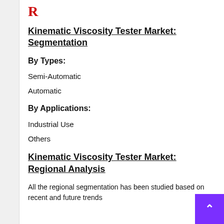R
Kinematic Viscosity Tester Market: Segmentation
By Types:
Semi-Automatic
Automatic
By Applications:
Industrial Use
Others
Kinematic Viscosity Tester Market: Regional Analysis
All the regional segmentation has been studied based on recent and future trends